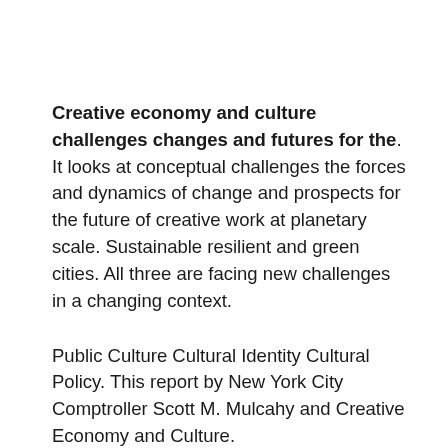Creative economy and culture challenges changes and futures for the. It looks at conceptual challenges the forces and dynamics of change and prospects for the future of creative work at planetary scale. Sustainable resilient and green cities. All three are facing new challenges in a changing context.
Public Culture Cultural Identity Cultural Policy. This report by New York City Comptroller Scott M. Mulcahy and Creative Economy and Culture.